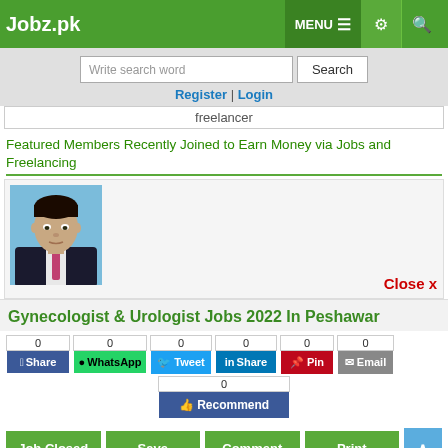Jobz.pk | MENU | Settings | Search
Write search word
Register | Login
freelancer
Featured Members Recently Joined to Earn Money via Jobs and Freelancing
[Figure (photo): Profile photo of a man in dark suit with light blue background]
Close x
Gynecologist & Urologist Jobs 2022 In Peshawar
0 Share | 0 WhatsApp | 0 Tweet | 0 Share | 0 Pin | 0 Email | 0 Recommend
Job Closed | Save | Comment | Print